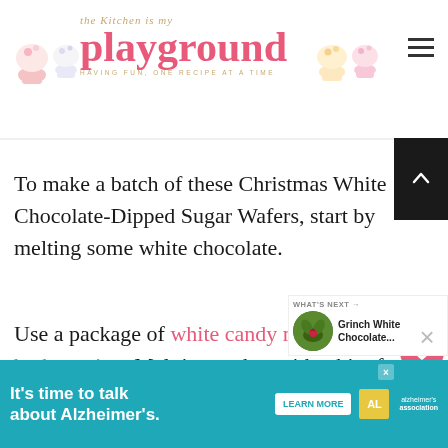The Kitchen is My Playground — HAVING FUN, ONE RECIPE AT A TIME
To make a batch of these Christmas White Chocolate-Dipped Sugar Wafers, start by melting some white chocolate.
Use a package of white candy melts or bark coating.  Melt it together with a bit of shortening in the microwave per the
[Figure (illustration): What's Next panel with Grinch White Chocolate image thumbnail]
[Figure (infographic): Advertisement banner: It's time to talk about Alzheimer's. Learn More. Alzheimer's Association logo.]